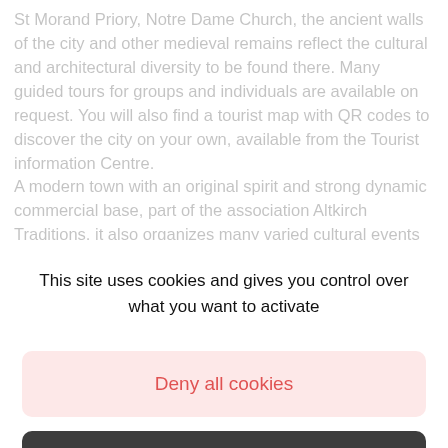St Morand Priory, Notre Dame Church, the ancient walls of the city and other medieval remains reflect the cultural and architectural diversity to be found there. Many guided tours for groups and individuals are available on request. You will also find a tourist map with QR codes to discover the city on your own, available from the Tourist information Centre.
A modern town with an original spirit and strong dynamic commercial base, part of the association Altkirch Traditions, it also organizes many varied cultural events including the Enchanted Forest in December, the Short Film Festival in spring, the Festival of Music and Street Art Festival in...
This site uses cookies and gives you control over what you want to activate
Deny all cookies
Personalize
OK, accept all